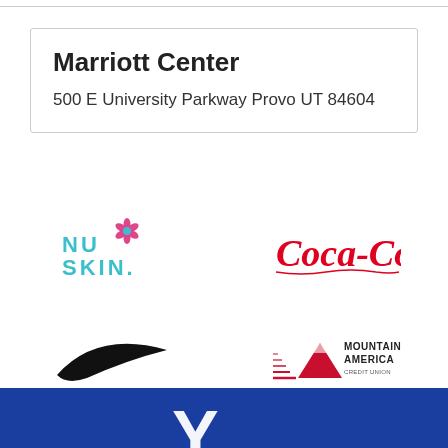Marriott Center
500 E University Parkway Provo UT 84604
[Figure (logo): Nu Skin logo with teal text and pink flower icon]
[Figure (logo): Coca-Cola logo in red cursive script]
[Figure (logo): Nike swoosh logo in black]
[Figure (logo): Mountain America Credit Union logo with red mountain/eagle icon and black text]
[Figure (logo): Blue footer with partial white BYU logo]